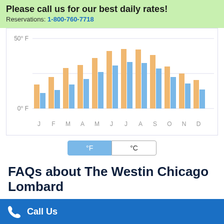Please call us for our best daily rates!
Reservations: 1-800-760-7718
[Figure (grouped-bar-chart): Monthly temperature chart]
°F | °C
FAQs about The Westin Chicago Lombard
What time is check in?
Check in time is 3:00 based on the hotel's local time. Early
Call Us